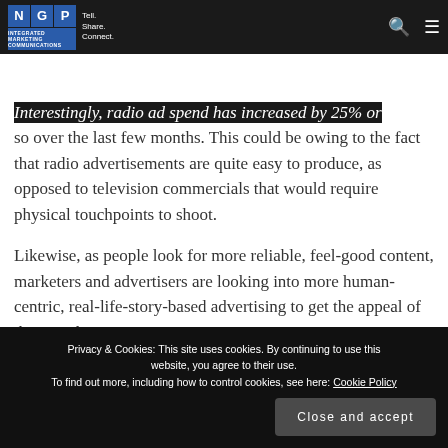NGP — Tell. Share. Connect. [navigation bar with logo, search, and menu icons]
skidded to a halt, and declined by as much as 25%.
Interestingly, radio ad spend has increased by 25% or so over the last few months. This could be owing to the fact that radio advertisements are quite easy to produce, as opposed to television commercials that would require physical touchpoints to shoot.
Likewise, as people look for more reliable, feel-good content, marketers and advertisers are looking into more human-centric, real-life-story-based advertising to get the appeal of their market.
Privacy & Cookies: This site uses cookies. By continuing to use this website, you agree to their use. To find out more, including how to control cookies, see here: Cookie Policy
Close and accept